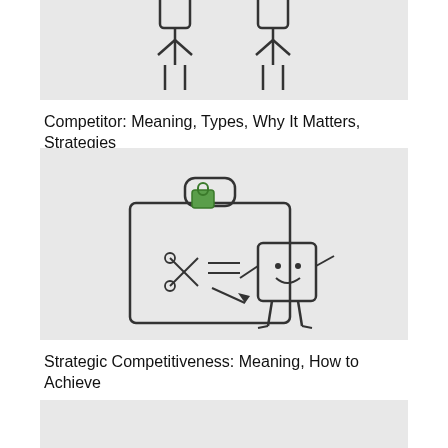[Figure (illustration): Illustration of two figure characters facing each other, representing competitors, on a light gray background. Partial view - top portion cut off.]
Competitor: Meaning, Types, Why It Matters, Strategies
[Figure (illustration): Illustration of a cartoon briefcase with a green handle and a small animated box character with a smiley face and legs, with scissors and lines suggesting a cutout activity, on a light gray background. Represents strategic competitiveness concept.]
Strategic Competitiveness: Meaning, How to Achieve
[Figure (illustration): Bottom illustration partially visible, light gray background, content partially cut off at bottom of page.]